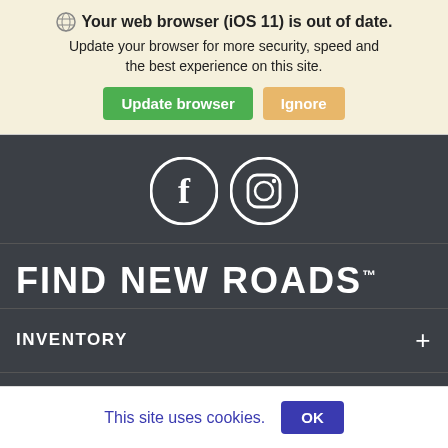Your web browser (iOS 11) is out of date. Update your browser for more security, speed and the best experience on this site.
Update browser | Ignore
[Figure (illustration): Social media icons: Facebook (f) and Instagram camera in white circles on dark background]
FIND NEW ROADS™
INVENTORY +
SERVICE +
This site uses cookies. OK